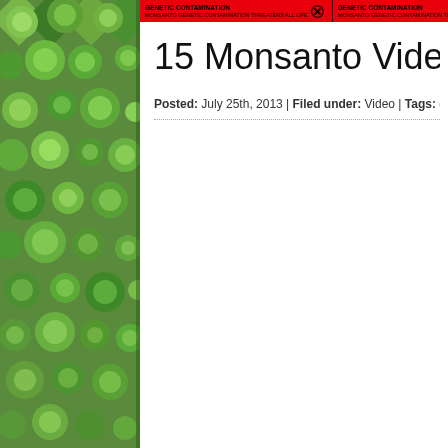[Figure (photo): Aerial photograph of circular crop fields (center-pivot irrigation) in shades of green and brown, used as a sidebar background image.]
[Figure (infographic): Red banner repeating 'GENETIC CONTAMINATION' text with biohazard symbols across the top of the content area.]
15 Monsanto Video Rev
Posted: July 25th, 2013 | Filed under: Video | Tags: gmo, GMO Labeling, M